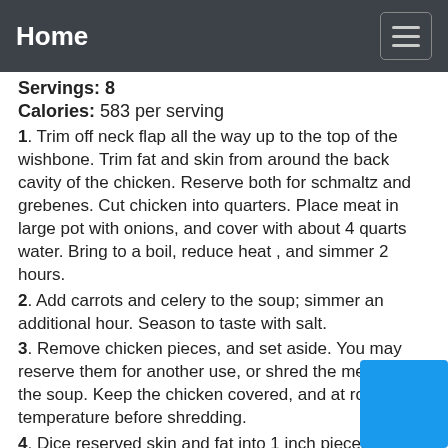Home
Servings: 8
Calories: 583 per serving
1. Trim off neck flap all the way up to the top of the wishbone. Trim fat and skin from around the back cavity of the chicken. Reserve both for schmaltz and grebenes. Cut chicken into quarters. Place meat in large pot with onions, and cover with about 4 quarts water. Bring to a boil, reduce heat , and simmer 2 hours.
2. Add carrots and celery to the soup; simmer an additional hour. Season to taste with salt.
3. Remove chicken pieces, and set aside. You may reserve them for another use, or shred the meat for the soup. Keep the chicken covered, and at room temperature before shredding.
4. Dice reserved skin and fat into 1 inch pieces. Cook in a heavy bottomed skillet over medium heat, turning occasionally. Make sure the pan never gets so hot as to